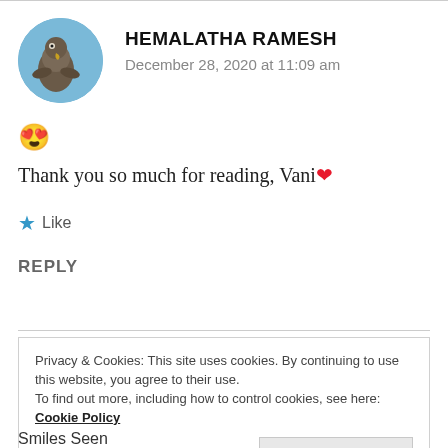[Figure (photo): Circular avatar photo of a bird (possibly a hawk or eagle) against a blue sky background]
HEMALATHA RAMESH
December 28, 2020 at 11:09 am
😍
Thank you so much for reading, Vani ❤
★ Like
REPLY
Privacy & Cookies: This site uses cookies. By continuing to use this website, you agree to their use.
To find out more, including how to control cookies, see here: Cookie Policy
Close and accept
Smiles Seen